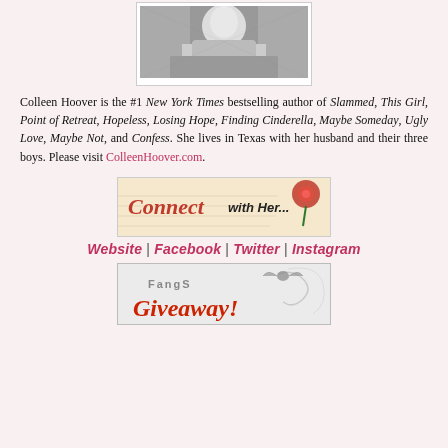[Figure (photo): Black and white portrait photo of Colleen Hoover, cropped to show upper body, wearing a patterned dress.]
Colleen Hoover is the #1 New York Times bestselling author of Slammed, This Girl, Point of Retreat, Hopeless, Losing Hope, Finding Cinderella, Maybe Someday, Ugly Love, Maybe Not, and Confess. She lives in Texas with her husband and their three boys. Please visit ColleenHoover.com.
[Figure (illustration): Decorative banner reading 'Connect with Her...' with a red rose and handwriting imagery on a parchment background.]
Website | Facebook | Twitter | Instagram
[Figure (illustration): Giveaway banner with gothic styling reading 'FangS Giveaway!' with bat and swirl decorations.]